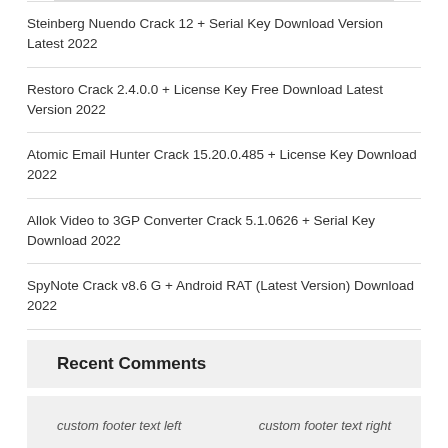Steinberg Nuendo Crack 12 + Serial Key Download Version Latest 2022
Restoro Crack 2.4.0.0 + License Key Free Download Latest Version 2022
Atomic Email Hunter Crack 15.20.0.485 + License Key Download 2022
Allok Video to 3GP Converter Crack 5.1.0626 + Serial Key Download 2022
SpyNote Crack v8.6 G + Android RAT (Latest Version) Download 2022
Recent Comments
custom footer text left                    custom footer text right
Iconic One Theme | Powered by Wordpress